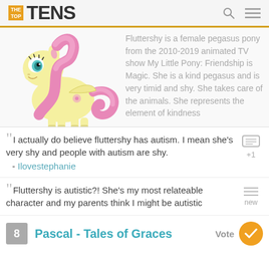THE TOP TENS
Fluttershy is a female pegasus pony from the 2010-2019 animated TV show My Little Pony: Friendship is Magic. She is a kind pegasus and is very timid and shy. She takes care of the animals. She represents the element of kindness
I actually do believe fluttershy has autism. I mean she's very shy and people with autism are shy. - Ilovestephanie
Fluttershy is autistic?! She's my most relateable character and my parents think I might be autistic
8 Pascal - Tales of Graces Vote